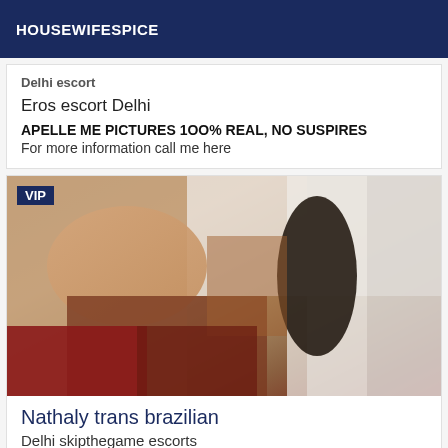HOUSEWIFESPICE
Eros escort Delhi
APELLE ME PICTURES 1OO% REAL, NO SUSPIRES
For more information call me here
[Figure (photo): VIP labeled photo of a person, partially cropped, with dark red fabric in background]
Nathaly trans brazilian
Delhi skipthegame escorts